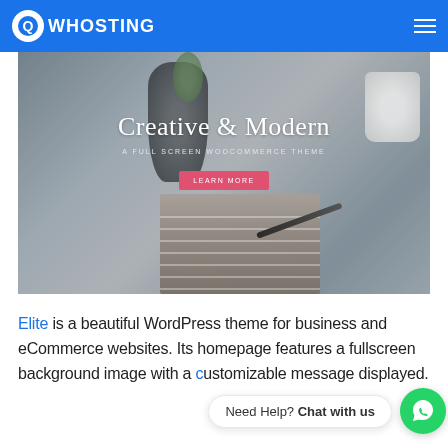QW HOSTING
[Figure (screenshot): Hero banner image showing books stacked with a pen on top, a dark vase with plant in background, and a white mug. Overlay text reads 'Creative & Modern' with subtitle 'A FULL SCREEN WOOCOMMERCE THEME' and a pink 'LEARN MORE' button.]
Elite is a beautiful WordPress theme for business and eCommerce websites. Its homepage features a fullscreen background image with a c[ustomizable] m[essage] displayed.